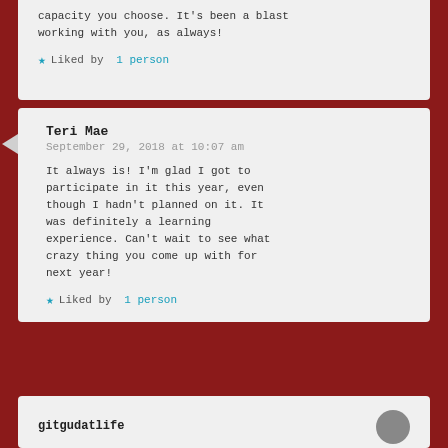capacity you choose. It's been a blast working with you, as always!
★ Liked by 1 person
Teri Mae
September 29, 2018 at 10:07 am
It always is! I'm glad I got to participate in it this year, even though I hadn't planned on it. It was definitely a learning experience. Can't wait to see what crazy thing you come up with for next year!
★ Liked by 1 person
gitgudatlife